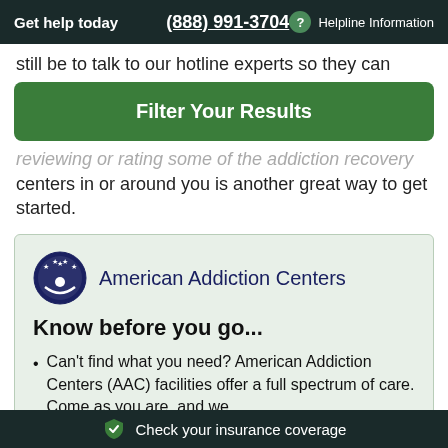Get help today   (888) 991-3704   ? Helpline Information
still be to talk to our hotline experts so they can
Filter Your Results
reviewing or rating some of the addiction recovery centers in or around you is another great way to get started.
[Figure (logo): American Addiction Centers logo — dark blue circle with stars and figure, next to text 'American Addiction Centers']
Know before you go...
Can't find what you need? American Addiction Centers (AAC) facilities offer a full spectrum of care. Come as you are, and we
Check your insurance coverage